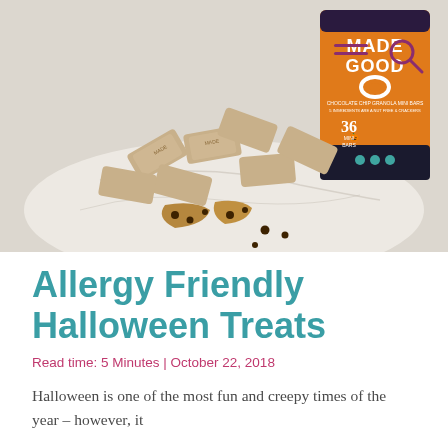[Figure (photo): Product photo of Made Good Chocolate Chip Granola Mini Bars orange box with Halloween artwork, surrounded by individually wrapped mini bars and a broken granola bar with chocolate chips on a marble surface.]
Allergy Friendly Halloween Treats
Read time: 5 Minutes | October 22, 2018
Halloween is one of the most fun and creepy times of the year – however, it